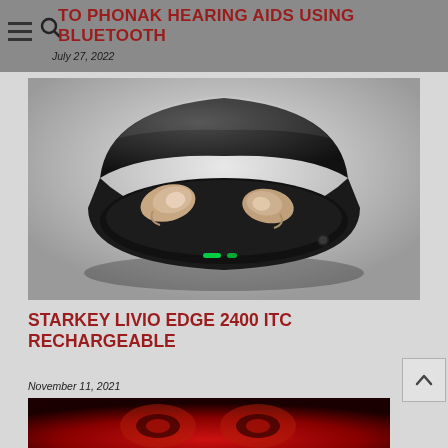TO PHONAK HEARING AIDS USING BLUETOOTH
July 27, 2022
[Figure (photo): A black rechargeable hearing aid charging case open to reveal two small in-the-ear hearing aids resting inside, with green LED indicators visible on the case.]
STARKEY LIVIO EDGE 2400 ITC RECHARGEABLE
November 11, 2021
[Figure (photo): Close-up of a person's eyes illuminated in red light, partially visible at the bottom of the page.]